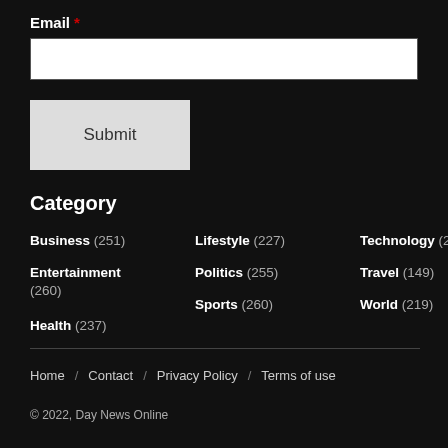Email *
Submit
Category
Business (251)
Entertainment (260)
Health (237)
Lifestyle (227)
Politics (255)
Sports (260)
Technology (237)
Travel (149)
World (219)
Home / Contact / Privacy Policy / Terms of use
© 2022, Day News Online